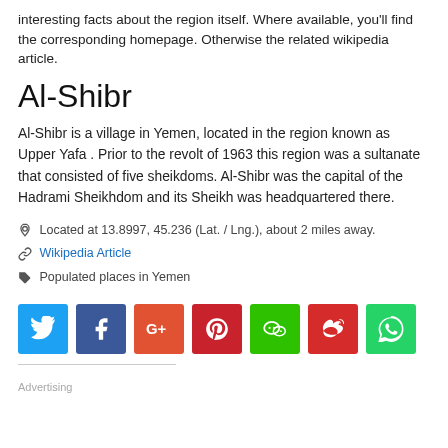interesting facts about the region itself. Where available, you'll find the corresponding homepage. Otherwise the related wikipedia article.
Al-Shibr
Al-Shibr is a village in Yemen, located in the region known as Upper Yafa . Prior to the revolt of 1963 this region was a sultanate that consisted of five sheikdoms. Al-Shibr was the capital of the Hadrami Sheikhdom and its Sheikh was headquartered there.
Located at 13.8997, 45.236 (Lat. / Lng.), about 2 miles away.
Wikipedia Article
Populated places in Yemen
[Figure (other): Social media share buttons: Twitter, Facebook, Google+, Pinterest, WeChat, Weibo, WhatsApp]
Advertising